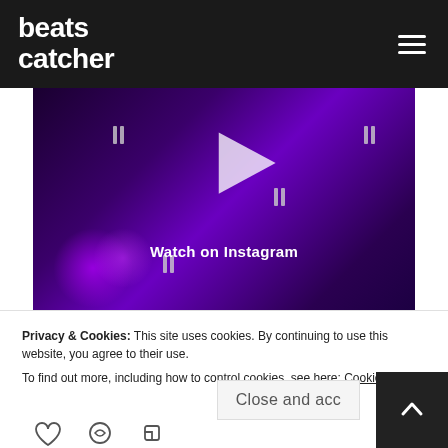beats catcher
[Figure (screenshot): Instagram embedded video with purple/dark background, play button, and 'Watch on Instagram' label]
Privacy & Cookies: This site uses cookies. By continuing to use this website, you agree to their use.
To find out more, including how to control cookies, see here: Cookie Policy
Close and acc